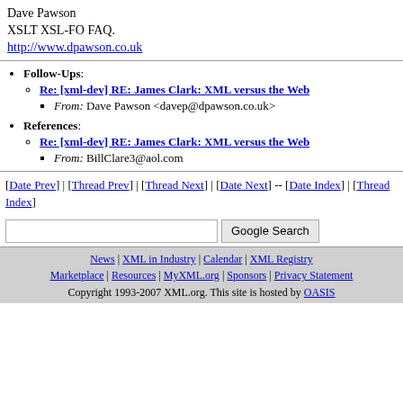Dave Pawson
XSLT XSL-FO FAQ.
http://www.dpawson.co.uk
Follow-Ups: Re: [xml-dev] RE: James Clark: XML versus the Web — From: Dave Pawson <davep@dpawson.co.uk>
References: Re: [xml-dev] RE: James Clark: XML versus the Web — From: BillClare3@aol.com
[Date Prev] | [Thread Prev] | [Thread Next] | [Date Next] -- [Date Index] | [Thread Index]
Google Search (search box)
News | XML in Industry | Calendar | XML Registry | Marketplace | Resources | MyXML.org | Sponsors | Privacy Statement
Copyright 1993-2007 XML.org. This site is hosted by OASIS